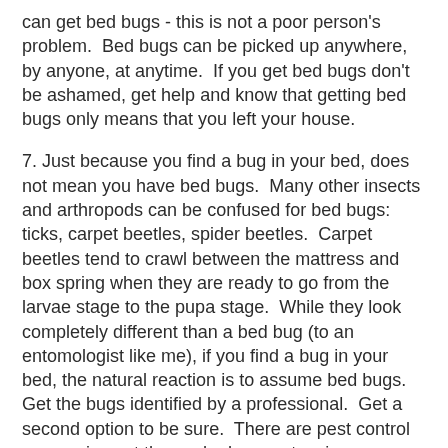can get bed bugs - this is not a poor person's problem.  Bed bugs can be picked up anywhere, by anyone, at anytime.  If you get bed bugs don't be ashamed, get help and know that getting bed bugs only means that you left your house.
7. Just because you find a bug in your bed, does not mean you have bed bugs.  Many other insects and arthropods can be confused for bed bugs:  ticks, carpet beetles, spider beetles.  Carpet beetles tend to crawl between the mattress and box spring when they are ready to go from the larvae stage to the pupa stage.  While they look completely different than a bed bug (to an entomologist like me), if you find a bug in your bed, the natural reaction is to assume bed bugs.  Get the bugs identified by a professional.  Get a second option to be sure.  There are pest control companies out there who have extensive experience with bed bugs and can give you an accurate identification.  You can also always utilize your local Texas A&M AgriLife Extension Service (me!).
8.  Bed bugs are not impossible to control!  Good news!  It is absolutely possible to manage bed bugs, contrary to what